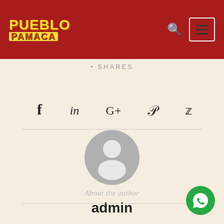[Figure (logo): Pueblo Pamaca logo — red header bar with yellow PUEBLO text and red-on-yellow PAMACA text, plus search and hamburger menu icons]
SHARES
[Figure (infographic): Social media share icons: Facebook (f), LinkedIn (in), Google+ (G+), Pinterest (p), Twitter bird]
[Figure (photo): Generic grey user avatar — circle with person silhouette]
About the author
admin
[Figure (logo): WhatsApp green circle button with white phone/chat icon]